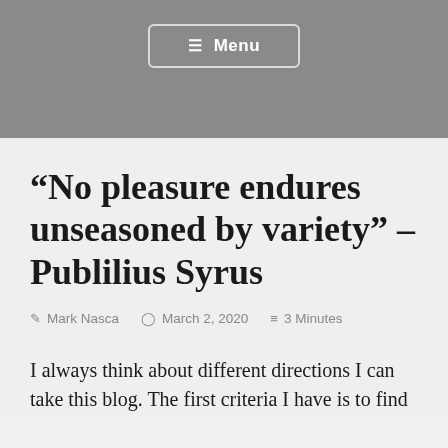☰ Menu
“No pleasure endures unseasoned by variety” – Publilius Syrus
Mark Nasca   March 2, 2020   3 Minutes
I always think about different directions I can take this blog. The first criteria I have is to find